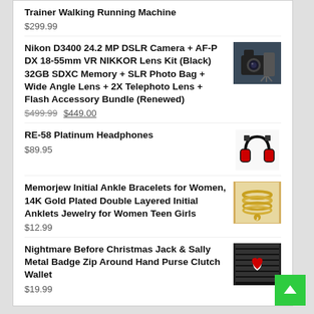Trainer Walking Running Machine
$299.99
Nikon D3400 24.2 MP DSLR Camera + AF-P DX 18-55mm VR NIKKOR Lens Kit (Black) 32GB SDXC Memory + SLR Photo Bag + Wide Angle Lens + 2X Telephoto Lens + Flash Accessory Bundle (Renewed)
$499.99 $449.00
RE-58 Platinum Headphones
$89.95
Memorjew Initial Ankle Bracelets for Women, 14K Gold Plated Double Layered Initial Anklets Jewelry for Women Teen Girls
$12.99
Nightmare Before Christmas Jack & Sally Metal Badge Zip Around Hand Purse Clutch Wallet
$19.99